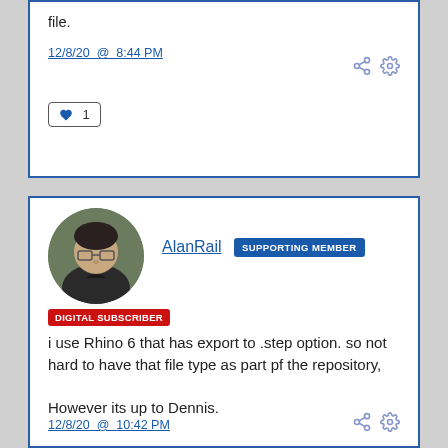file.
12/8/20 @ 8:44 PM
♥ 1
[Figure (photo): Avatar photo of AlanRail, a man with glasses wearing a dark shirt, circular crop]
AlanRail SUPPORTING MEMBER
DIGITAL SUBSCRIBER
i use Rhino 6 that has export to .step option. so not hard to have that file type as part pf the repository,

However its up to Dennis.
12/8/20 @ 10:42 PM